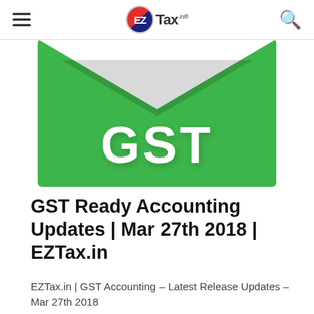EZTax.in
[Figure (illustration): GST branded green envelope/card graphic with white 'GST' text in large bold letters on a green background with a white envelope flap shape at the top]
GST Ready Accounting Updates | Mar 27th 2018 | EZTax.in
EZTax.in | GST Accounting – Latest Release Updates – Mar 27th 2018